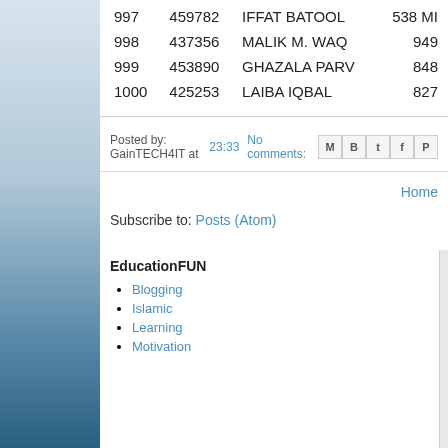| Rank | ID | Name | Score |
| --- | --- | --- | --- |
| 997 | 459782 | IFFAT BATOOL | 538 MI |
| 998 | 437356 | MALIK M. WAQ | 949 |
| 999 | 453890 | GHAZALA PARV | 848 |
| 1000 | 425253 | LAIBA IQBAL | 827 |
Posted by: GainTECH4IT at 23:33   No comments:
Home
Subscribe to: Posts (Atom)
EducationFUN
Blogging
Islamic
Learning
Motivation